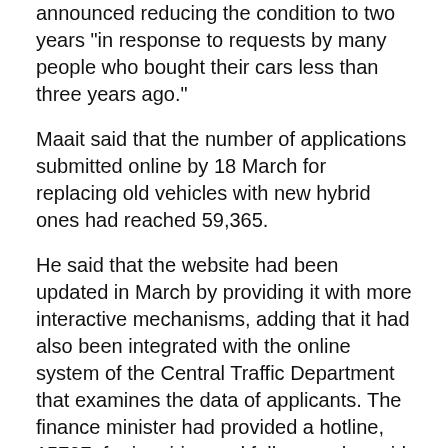announced reducing the condition to two years "in response to requests by many people who bought their cars less than three years ago."
Maait said that the number of applications submitted online by 18 March for replacing old vehicles with new hybrid ones had reached 59,365.
He said that the website had been updated in March by providing it with more interactive mechanisms, adding that it had also been integrated with the online system of the Central Traffic Department that examines the data of applicants. The finance minister had provided a hotline, 15707, for inquiries and follow-up, he said.
“I applied to replace my old car following the announcement of the initiative in January before the three-year ownership condition. Though they have reduced the condition to two years, I still believe it is crippling,” car owner Mohamed Sayed said.
Sayed, who bought a used car less than two years ago